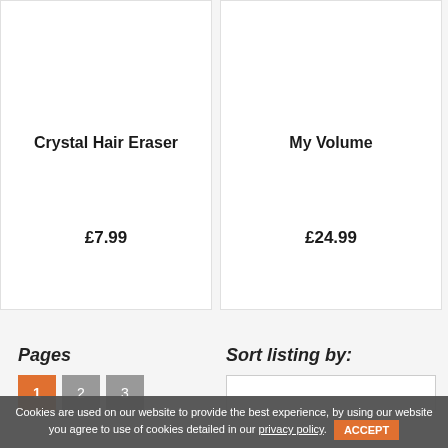[Figure (photo): Person using a pink crystal hair eraser on their leg, sitting on a white surface]
Crystal Hair Eraser
£7.99
[Figure (photo): Teal/dark green tube of hair product (My Volume) on white background]
My Volume
£24.99
Pages
Sort listing by:
Cookies are used on our website to provide the best experience, by using our website you agree to use of cookies detailed in our privacy policy.